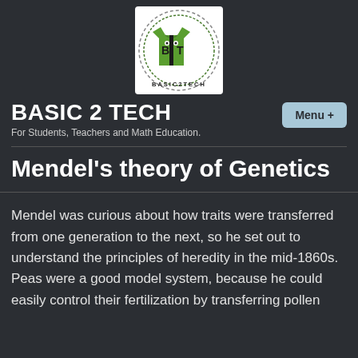[Figure (logo): Basic 2 Tech circular logo with a green t-shirt icon and text BASIC2TECH around the border]
BASIC 2 TECH
For Students, Teachers and Math Education.
Mendel’s theory of Genetics
Mendel was curious about how traits were transferred from one generation to the next, so he set out to understand the principles of heredity in the mid-1860s. Peas were a good model system, because he could easily control their fertilization by transferring pollen